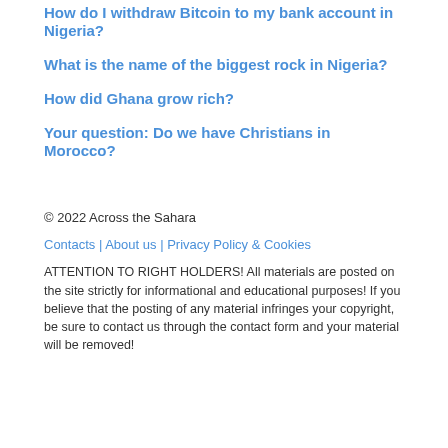How do I withdraw Bitcoin to my bank account in Nigeria?
What is the name of the biggest rock in Nigeria?
How did Ghana grow rich?
Your question: Do we have Christians in Morocco?
© 2022 Across the Sahara
Contacts | About us | Privacy Policy & Cookies
ATTENTION TO RIGHT HOLDERS! All materials are posted on the site strictly for informational and educational purposes! If you believe that the posting of any material infringes your copyright, be sure to contact us through the contact form and your material will be removed!